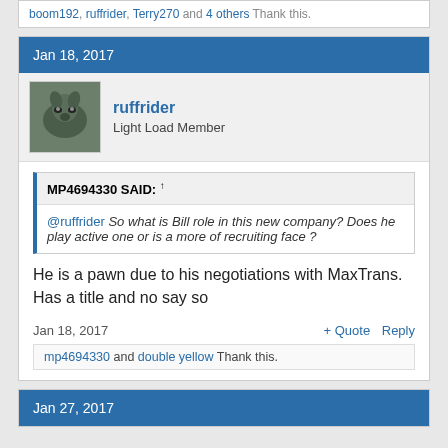boom192, ruffrider, Terry270 and 4 others Thank this.
Jan 18, 2017
ruffrider
Light Load Member
MP4694330 SAID: ↑
@ruffrider So what is Bill role in this new company? Does he play active one or is a more of recruiting face ?
He is a pawn due to his negotiations with MaxTrans. Has a title and no say so
Jan 18, 2017
+ Quote   Reply
mp4694330 and double yellow Thank this.
Jan 27, 2017